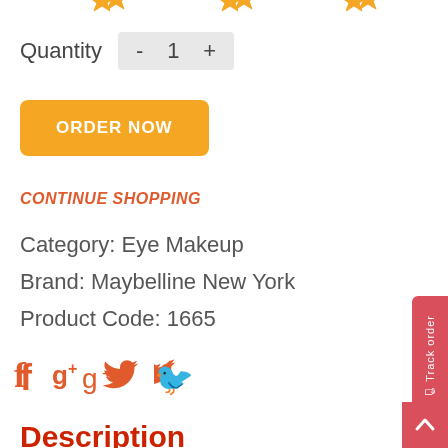[Figure (other): Three star rating icons partially visible at the top of the page]
Quantity - 1 +
ORDER NOW
CONTINUE SHOPPING
Category: Eye Makeup
Brand: Maybelline New York
Product Code: 1665
[Figure (other): Social media icons: Facebook (f), Google+ (g+), Twitter (bird)]
Description
Volume' Express® The Colossal® Waterproof Mascara instantly plumps lashes for dramatic volume without clumps